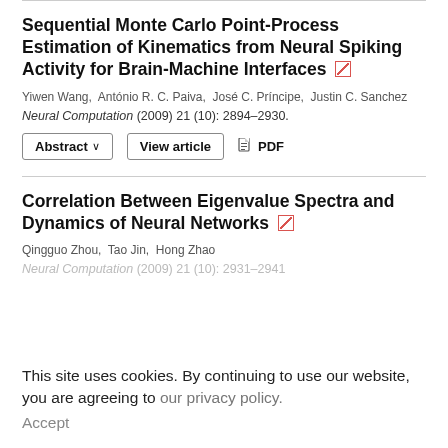Sequential Monte Carlo Point-Process Estimation of Kinematics from Neural Spiking Activity for Brain-Machine Interfaces
Yiwen Wang,  António R. C. Paiva,  José C. Príncipe,  Justin C. Sanchez
Neural Computation (2009) 21 (10): 2894–2930.
Abstract ∨   View article   PDF
Correlation Between Eigenvalue Spectra and Dynamics of Neural Networks
Qingguo Zhou,  Tao Jin,  Hong Zhao
Neural Computation (2009) 21 (10): 2931–2941
This site uses cookies. By continuing to use our website, you are agreeing to our privacy policy. Accept